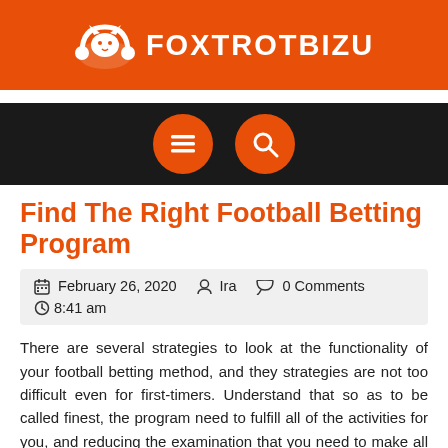FOXTROTBIZU
[Figure (logo): FOXTROTBIZU website header with orange background, fox icon, and white text logo]
[Figure (screenshot): Dark navigation bar with two orange circular buttons: hamburger menu icon and search icon]
Find The Right Football Betting Program
February 26, 2020  Ira  0 Comments  8:41 am
There are several strategies to look at the functionality of your football betting method, and they strategies are not too difficult even for first-timers. Understand that so as to be called finest, the program need to fulfill all of the activities for you, and reducing the examination that you need to make all on your own. When you battle to make